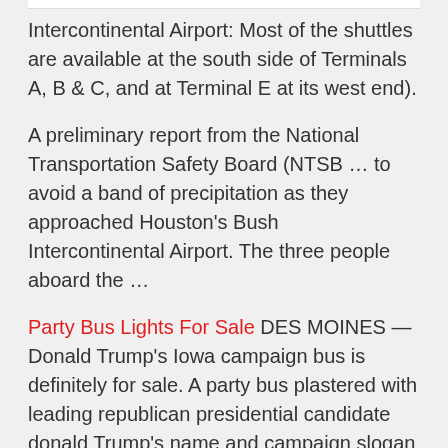Intercontinental Airport: Most of the shuttles are available at the south side of Terminals A, B & C, and at Terminal E at its west end).
A preliminary report from the National Transportation Safety Board (NTSB … to avoid a band of precipitation as they approached Houston's Bush Intercontinental Airport. The three people aboard the …
Party Bus Lights For Sale DES MOINES — Donald Trump's Iowa campaign bus is definitely for sale. A party bus plastered with leading republican presidential candidate donald Trump's name and campaign slogan appeared for sale on … Bus From Dallas To Houston Airport Bus routes from Houston, Tx to Dallas, Tx from $25.00 – Save money and book your bus
The Atlas Air Boeing 767 Freighter that crashed on